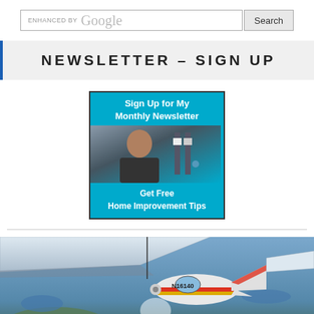[Figure (screenshot): Google search bar with 'ENHANCED BY Google' label and a 'Search' button]
NEWSLETTER – SIGN UP
[Figure (infographic): Newsletter sign-up banner with photo of a man and text: 'Sign Up for My Monthly Newsletter' and 'Get Free Home Improvement Tips']
[Figure (photo): Aerial photo of a small propeller airplane (N16140) flying over a landscape, with text 'Check out my' overlaid at the bottom]